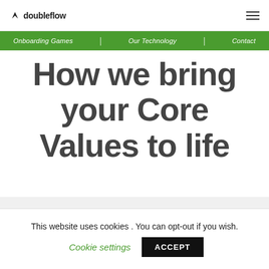doubleflow
[Figure (screenshot): Navigation bar with green background containing links: Onboarding Games, Our Technology, Contact]
How we bring your Core Values to life
This website uses cookies . You can opt-out if you wish. Cookie settings ACCEPT